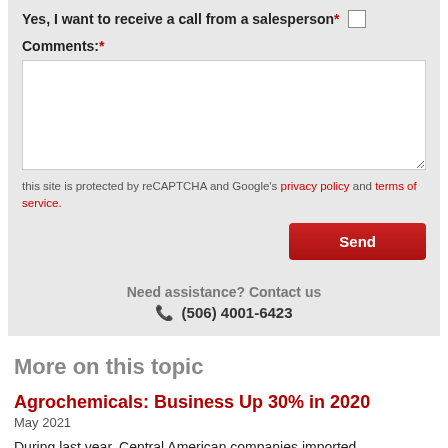Yes, I want to receive a call from a salesperson*
Comments:*
this site is protected by reCAPTCHA and Google's privacy policy and terms of service.
Send
Need assistance? Contact us
(506) 4001-6423
More on this topic
Agrochemicals: Business Up 30% in 2020
May 2021
During last year, Central American companies imported insecticides, herbicides and fungicides for $808 million, 30% more than what was reported in 2019, a rise that is explained by the behavior of purchases from all markets in the region.